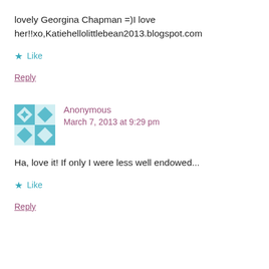lovely Georgina Chapman =)I love her!!xo,Katiehellolittlebean2013.blogspot.com
★ Like
Reply
Anonymous
March 7, 2013 at 9:29 pm
Ha, love it! If only I were less well endowed...
★ Like
Reply